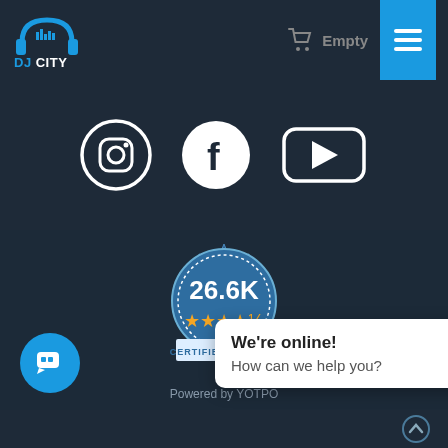[Figure (logo): DJ City logo with headphones icon and blue text]
Empty
[Figure (illustration): Shopping cart icon]
[Figure (illustration): Hamburger menu button (three horizontal lines) on blue background]
[Figure (illustration): Social media icons: Instagram, Facebook, YouTube]
[Figure (infographic): 26.6K certified reviews badge with 4.5 stars, Powered by YOTPO]
Powered by YOTPO
We're online!
How can we help you?